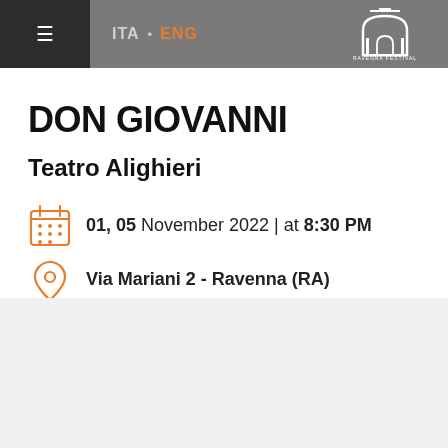ITA · ENG | Ravenna Festival
DON GIOVANNI
Teatro Alighieri
01, 05 November 2022 | at 8:30 PM
Via Mariani 2 - Ravenna (RA)